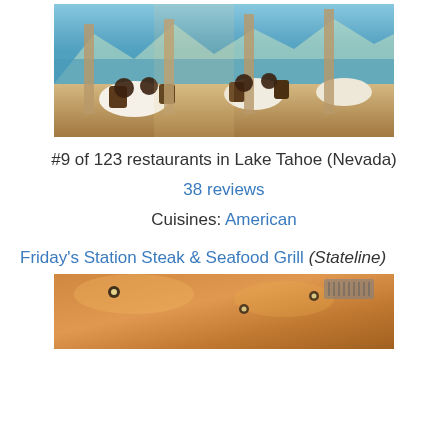[Figure (photo): Interior of a fine dining restaurant with white tablecloths, wooden chairs, and large windows overlooking a mountain lake view]
#9 of 123 restaurants in Lake Tahoe (Nevada)
38 reviews
Cuisines: American
Friday's Station Steak & Seafood Grill (Stateline)
[Figure (photo): Interior ceiling of Friday's Station Steak & Seafood Grill with warm amber lighting and recessed lights]